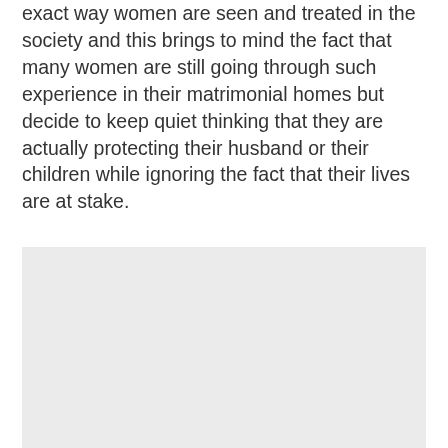exact way women are seen and treated in the society and this brings to mind the fact that many women are still going through such experience in their matrimonial homes but decide to keep quiet thinking that they are actually protecting their husband or their children while ignoring the fact that their lives are at stake.
[Figure (other): Light gray rectangular placeholder image block]